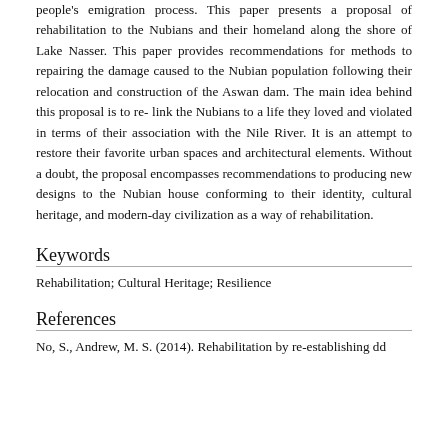people's emigration process. This paper presents a proposal of rehabilitation to the Nubians and their homeland along the shore of Lake Nasser. This paper provides recommendations for methods to repairing the damage caused to the Nubian population following their relocation and construction of the Aswan dam. The main idea behind this proposal is to re- link the Nubians to a life they loved and violated in terms of their association with the Nile River. It is an attempt to restore their favorite urban spaces and architectural elements. Without a doubt, the proposal encompasses recommendations to producing new designs to the Nubian house conforming to their identity, cultural heritage, and modern-day civilization as a way of rehabilitation.
Keywords
Rehabilitation; Cultural Heritage; Resilience
References
No, S., Andrew, M. S. (2014). Rehabilitation by re-establishing dd...